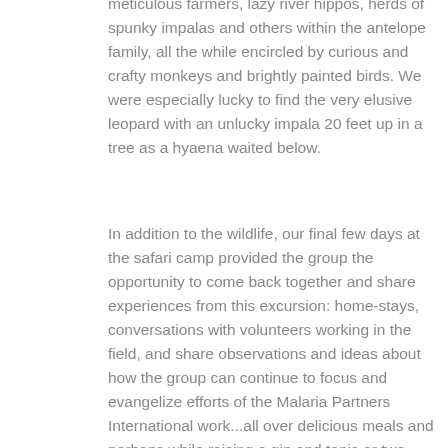meticulous farmers, lazy river hippos, herds of spunky impalas and others within the antelope family, all the while encircled by curious and crafty monkeys and brightly painted birds. We were especially lucky to find the very elusive leopard with an unlucky impala 20 feet up in a tree as a hyaena waited below.
In addition to the wildlife, our final few days at the safari camp provided the group the opportunity to come back together and share experiences from this excursion: home-stays, conversations with volunteers working in the field, and share observations and ideas about how the group can continue to focus and evangelize efforts of the Malaria Partners International work...all over delicious meals and perhaps while raising a gin and tonic or two.